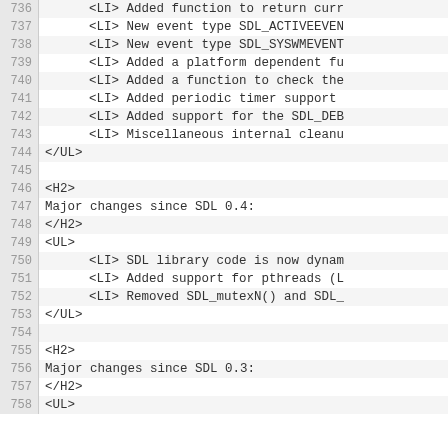736    <LI>    Added function to return curr
737    <LI>    New event type SDL_ACTIVEEVEN
738    <LI>    New event type SDL_SYSWMEVENT
739    <LI>    Added a platform dependent fu
740    <LI>    Added a function to check the
741    <LI>    Added periodic timer support
742    <LI>    Added support for the SDL_DEB
743    <LI>    Miscellaneous internal cleanu
744 </UL>
745
746 <H2>
747 Major changes since SDL 0.4:
748 </H2>
749 <UL>
750    <LI>    SDL library code is now dynam
751    <LI>    Added support for pthreads (L
752    <LI>    Removed SDL_mutexN() and SDL_
753 </UL>
754
755 <H2>
756 Major changes since SDL 0.3:
757 </H2>
758 <UL>